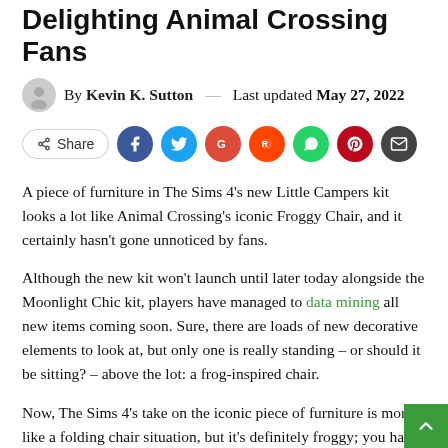Delighting Animal Crossing Fans
By Kevin K. Sutton — Last updated May 27, 2022
[Figure (other): Social share bar with Share button and icons for Facebook, Twitter, Google+, Reddit, WhatsApp, Pinterest, and Email]
A piece of furniture in The Sims 4's new Little Campers kit looks a lot like Animal Crossing's iconic Froggy Chair, and it certainly hasn't gone unnoticed by fans.
Although the new kit won't launch until later today alongside the Moonlight Chic kit, players have managed to data mining all new items coming soon. Sure, there are loads of new decorative elements to look at, but only one is really standing – or should it be sitting? – above the lot: a frog-inspired chair.
Now, The Sims 4's take on the iconic piece of furniture is more like a folding chair situation, but it's definitely froggy; you have the different shades of green to accentuate a belly and, most importantly, a smiley face that makes up the top of a backrest